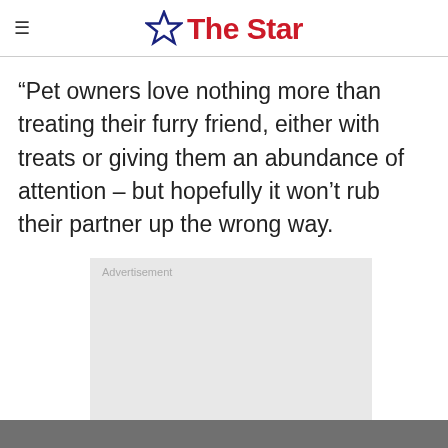The Star
“Pet owners love nothing more than treating their furry friend, either with treats or giving them an abundance of attention – but hopefully it won’t rub their partner up the wrong way.
[Figure (other): Advertisement placeholder box with grey background and 'Advertisement' label text]